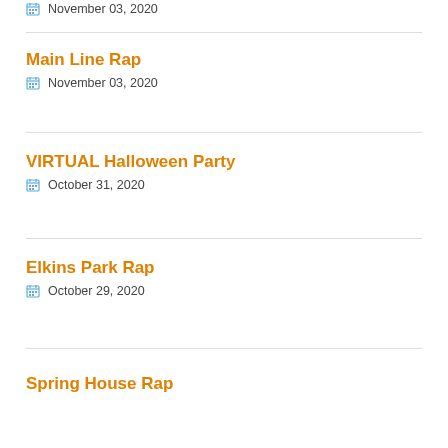November 03, 2020
Main Line Rap – November 03, 2020
VIRTUAL Halloween Party – October 31, 2020
Elkins Park Rap – October 29, 2020
Spring House Rap